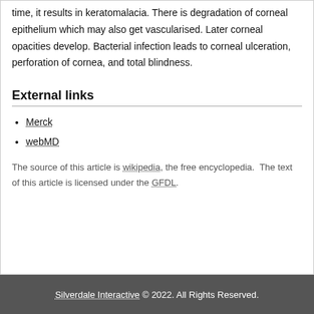time, it results in keratomalacia. There is degradation of corneal epithelium which may also get vascularised. Later corneal opacities develop. Bacterial infection leads to corneal ulceration, perforation of cornea, and total blindness.
External links
Merck
webMD
The source of this article is wikipedia, the free encyclopedia.  The text of this article is licensed under the GFDL.
Silverdale Interactive © 2022. All Rights Reserved.